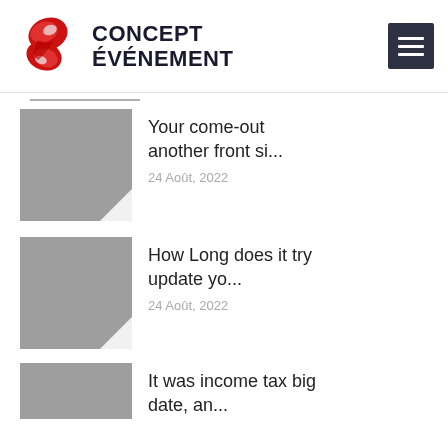CONCEPT ÉVÉNEMENT
Your come-out another front si...
24 Août, 2022
How Long does it try update yo...
24 Août, 2022
It was income tax big date, an...